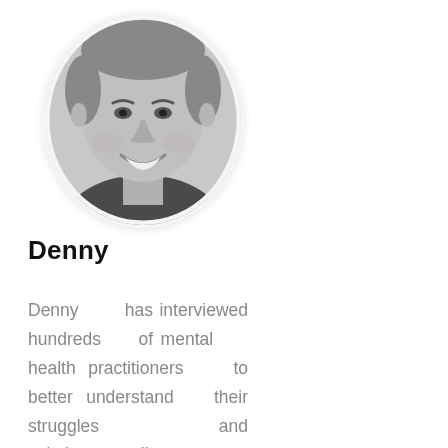[Figure (photo): Black and white oval portrait photo of a smiling man (Denny)]
Denny
Denny has interviewed hundreds of mental health practitioners to better understand their struggles and solutions, all